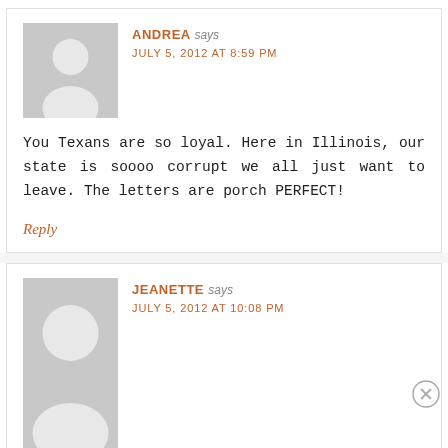ANDREA says JULY 5, 2012 AT 8:59 PM
You Texans are so loyal. Here in Illinois, our state is soooo corrupt we all just want to leave. The letters are porch PERFECT!
Reply
JEANETTE says JULY 5, 2012 AT 10:08 PM
We had a family reunion here several years